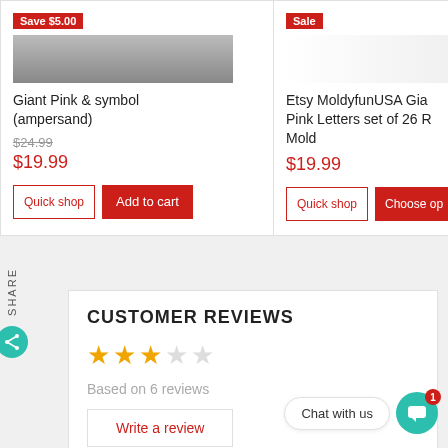Save $5.00
Giant Pink & symbol (ampersand)
$24.99
$19.99
Quick shop
Add to cart
Sale
Etsy MoldyfunUSA Gia Pink Letters set of 26 R Mold
$19.99
Quick shop
Choose op
SHARE
CUSTOMER REVIEWS
Based on 6 reviews
Write a review